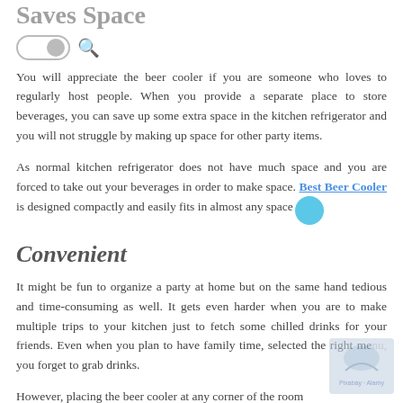Saves Space
You will appreciate the beer cooler if you are someone who loves to regularly host people. When you provide a separate place to store beverages, you can save up some extra space in the kitchen refrigerator and you will not struggle by making up space for other party items.
As normal kitchen refrigerator does not have much space and you are forced to take out your beverages in order to make space. Best Beer Cooler is designed compactly and easily fits in almost any space.
Convenient
It might be fun to organize a party at home but on the same hand tedious and time-consuming as well. It gets even harder when you are to make multiple trips to your kitchen just to fetch some chilled drinks for your friends. Even when you plan to have family time, selected the right me you forget to grab drinks.
However, placing the beer cooler at any corner of the room